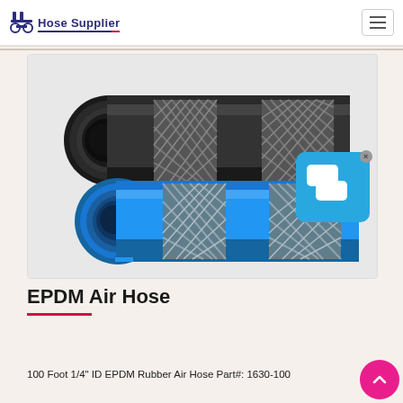Hose Supplier
[Figure (photo): Two EPDM rubber air hoses side by side — one black with braided reinforcement sections, one blue with braided reinforcement sections. Both shown in perspective view with open ends visible.]
EPDM Air Hose
100 Foot 1/4" ID EPDM Rubber Air Hose Part#: 1630-100